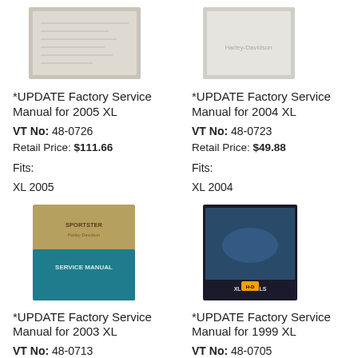[Figure (photo): Photo of *UPDATE Factory Service Manual for 2005 XL book cover]
[Figure (photo): Photo of *UPDATE Factory Service Manual for 2004 XL book cover]
*UPDATE Factory Service Manual for 2005 XL
VT No: 48-0726
Retail Price: $111.66
Fits:
XL 2005
*UPDATE Factory Service Manual for 2004 XL
VT No: 48-0723
Retail Price: $49.88
Fits:
XL 2004
[Figure (photo): Photo of *UPDATE Factory Service Manual for 2003 XL book cover - Sportster Service Manual teal and gold]
[Figure (photo): Photo of *UPDATE Factory Service Manual for 1999 XL book cover - blue motorcycle]
*UPDATE Factory Service Manual for 2003 XL
VT No: 48-0713
*UPDATE Factory Service Manual for 1999 XL
VT No: 48-0705